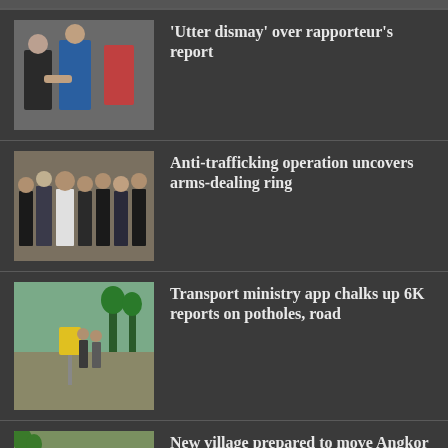[Figure (photo): Partial image at top, cropped]
'Utter dismay' over rapporteur's report
[Figure (photo): Group of people standing outdoors, anti-trafficking operation]
Anti-trafficking operation uncovers arms-dealing ring
[Figure (photo): Workers or officials near road with yellow sign, transport ministry]
Transport ministry app chalks up 6K reports on potholes, road
[Figure (photo): Village scene with people, Angkor residents]
New village prepared to move Angkor residents